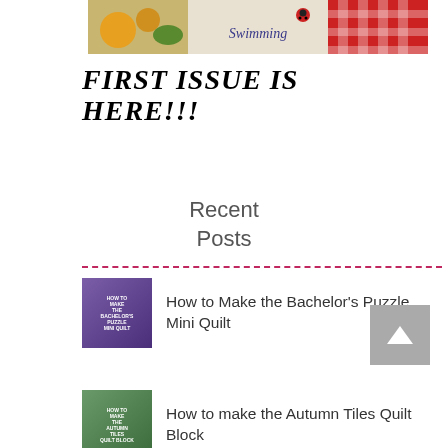[Figure (photo): Partial top image showing a summer-themed cross-stitch scene with flowers, ladybug, and the word 'Swimming' on a red checkered background]
FIRST ISSUE IS HERE!!!
Recent Posts
How to Make the Bachelor's Puzzle Mini Quilt
How to make the Autumn Tiles Quilt Block